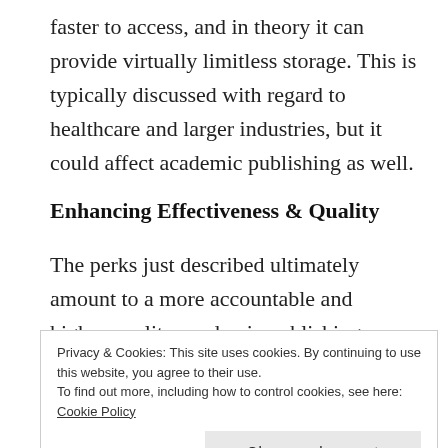faster to access, and in theory it can provide virtually limitless storage. This is typically discussed with regard to healthcare and larger industries, but it could affect academic publishing as well.
Enhancing Effectiveness & Quality
The perks just described ultimately amount to a more accountable and higher-quality academic publishing environment. Peer review it would...
Privacy & Cookies: This site uses cookies. By continuing to use this website, you agree to their use. To find out more, including how to control cookies, see here: Cookie Policy
Close and accept